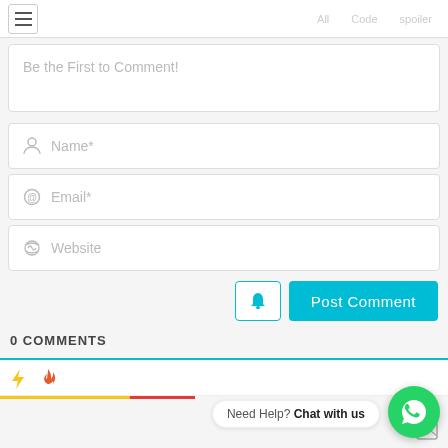[Figure (screenshot): Navigation bar with hamburger menu icon and nav links]
Be the First to Comment!
[Figure (screenshot): Image/photo icon in top right of comment area]
Name*
Email*
Website
[Figure (screenshot): Bell notification button and Post Comment button]
0 COMMENTS
[Figure (screenshot): Bottom bar with lightning and fire icons, progress bars, WhatsApp chat bubble with 'Need Help? Chat with us' label]